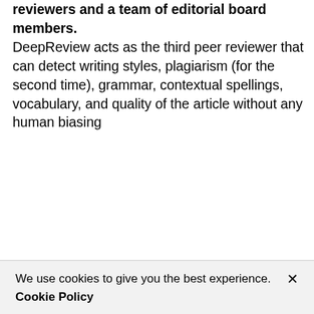reviewers and a team of editorial board members. DeepReview acts as the third peer reviewer that can detect writing styles, plagiarism (for the second time), grammar, contextual spellings, vocabulary, and quality of the article without any human biasing
We use cookies to give you the best experience. Cookie Policy